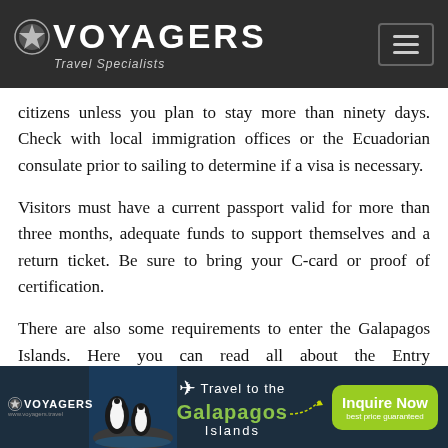VOYAGERS Travel Specialists
citizens unless you plan to stay more than ninety days. Check with local immigration offices or the Ecuadorian consulate prior to sailing to determine if a visa is necessary.
Visitors must have a current passport valid for more than three months, adequate funds to support themselves and a return ticket. Be sure to bring your C-card or proof of certification.
There are also some requirements to enter the Galapagos Islands. Here you can read all about the Entry Requirements.
[Figure (infographic): Voyagers Travel Specialists banner ad showing penguins on rocks, airplane icon, text 'Travel to the Galapagos Islands', and a green 'Inquire Now best price guaranteed' button]